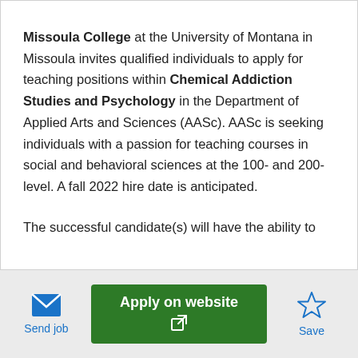Missoula College at the University of Montana in Missoula invites qualified individuals to apply for teaching positions within Chemical Addiction Studies and Psychology in the Department of Applied Arts and Sciences (AASc). AASc is seeking individuals with a passion for teaching courses in social and behavioral sciences at the 100- and 200-level. A fall 2022 hire date is anticipated.
The successful candidate(s) will have the ability to